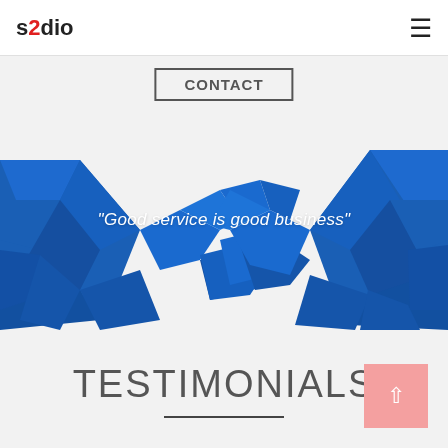s2dio
[Figure (illustration): Blue geometric polygonal handshake illustration with the quote 'Good service is good business' overlaid in white italic text]
TESTIMONIALS